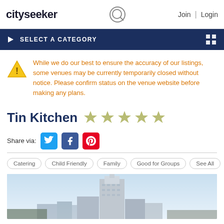cityseeker | Join | Login
SELECT A CATEGORY
While we do our best to ensure the accuracy of our listings, some venues may be currently temporarily closed without notice. Please confirm status on the venue website before making any plans.
Tin Kitchen
Share via:
Catering  Child Friendly  Family  Good for Groups  See All
[Figure (photo): City skyline with tall building visible, blue sky background]